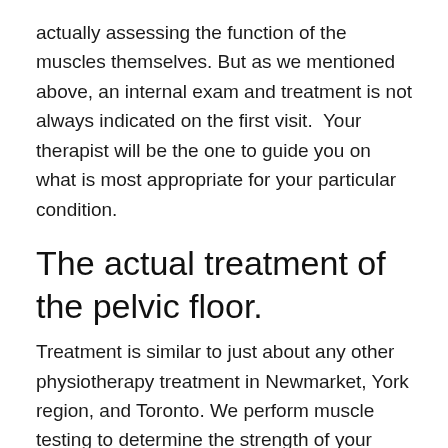actually assessing the function of the muscles themselves. But as we mentioned above, an internal exam and treatment is not always indicated on the first visit.  Your therapist will be the one to guide you on what is most appropriate for your particular condition.
The actual treatment of the pelvic floor.
Treatment is similar to just about any other physiotherapy treatment in Newmarket, York region, and Toronto. We perform muscle testing to determine the strength of your pelvic